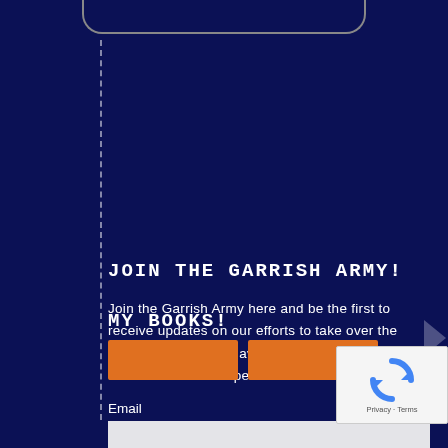[Figure (screenshot): Top area showing partial rounded button/tab shape in navy blue background]
JOIN THE GARRISH ARMY!
Join the Garrish Army here and be the first to receive updates on our efforts to take over the world. You will also have exclusive access to contests and sneak peeks.
Email
[Figure (screenshot): Email input field (light gray/white rectangle) and Subscribe button (dark gray rectangle with 'Subscribe' text)]
MY BOOKS!
[Figure (screenshot): Orange book cover thumbnails partially visible at bottom]
[Figure (logo): reCAPTCHA badge with spinning arrows logo and Privacy - Terms text]